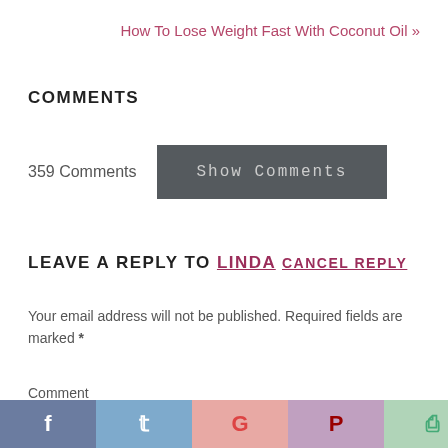How To Lose Weight Fast With Coconut Oil »
COMMENTS
359 Comments
Show Comments
LEAVE A REPLY TO LINDA CANCEL REPLY
Your email address will not be published. Required fields are marked *
Comment
[Figure (infographic): Social sharing bar with icons for Facebook, Twitter, Google+, Pinterest, and WhatsApp]